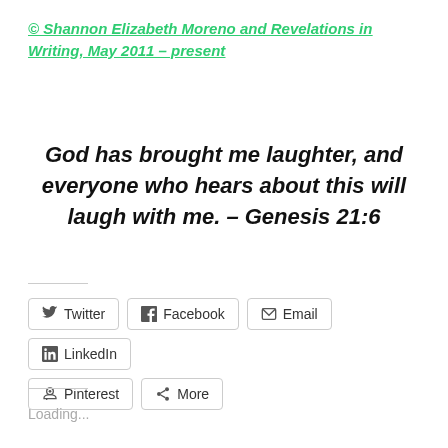© Shannon Elizabeth Moreno and Revelations in Writing, May 2011 – present
God has brought me laughter, and everyone who hears about this will laugh with me. – Genesis 21:6
[Figure (other): Social sharing buttons: Twitter, Facebook, Email, LinkedIn, Pinterest, More]
Loading...